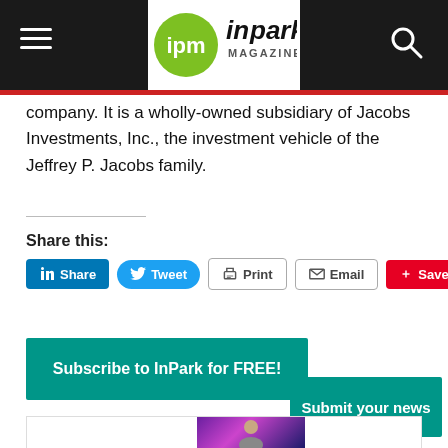ipm inpark MAGAZINE
company. It is a wholly-owned subsidiary of Jacobs Investments, Inc., the investment vehicle of the Jeffrey P. Jacobs family.
Share this:
[Figure (infographic): Social sharing buttons: LinkedIn Share, Tweet, Print, Email, Pinterest Save]
[Figure (infographic): Subscribe to InPark for FREE! button (teal)]
[Figure (infographic): Submit your news button (teal)]
[Figure (photo): Partial photo of a person wearing a cap in a colorful purple/neon lit environment]